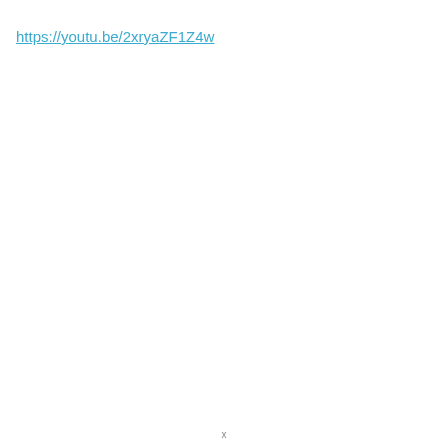https://youtu.be/2xryaZF1Z4w
x